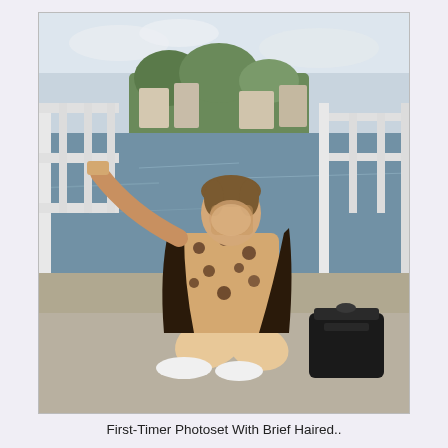[Figure (photo): A person crouching on a bridge or boardwalk near a river, leaning on a white railing with one arm raised. The person wears a leopard-print top, dark cardigan, shorts, and white sneakers. A black handbag sits nearby. Buildings and trees visible in the background. The person's face is blurred/obscured.]
First-Timer Photoset With Brief Haired..